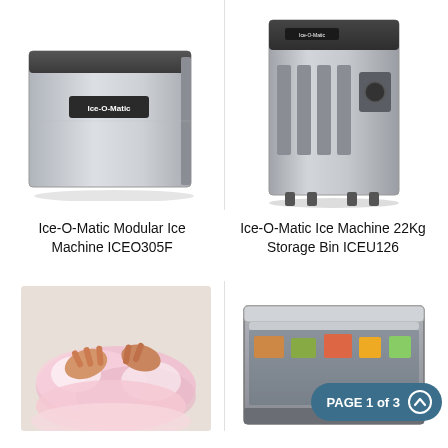[Figure (photo): Ice-O-Matic Modular Ice Machine ICEO305F - stainless steel boxy unit with brand label on front]
[Figure (photo): Ice-O-Matic Ice Machine 22Kg Storage Bin ICEU126 - upright stainless steel ice machine with ventilation grilles and legs]
Ice-O-Matic Modular Ice Machine ICEO305F
Ice-O-Matic Ice Machine 22Kg Storage Bin ICEU126
[Figure (photo): Close-up of hands scooping or bagging pink/white fluffy ice or cotton candy]
[Figure (photo): Stainless steel refrigerated buffet/display unit with food items visible inside, partially obscured by PAGE 1 of 3 badge]
PAGE 1 of 3